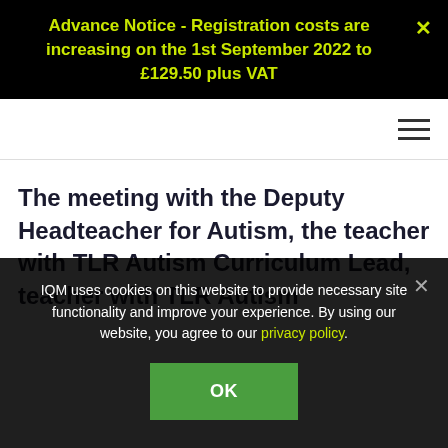Advance Notice - Registration costs are increasing on the 1st September 2022 to £129.50 plus VAT
The meeting with the Deputy Headteacher for Autism, the teacher with TLR Autism Curriculum Lead, teacher with TLR Autism
IQM uses cookies on this website to provide necessary site functionality and improve your experience. By using our website, you agree to our privacy policy.
OK